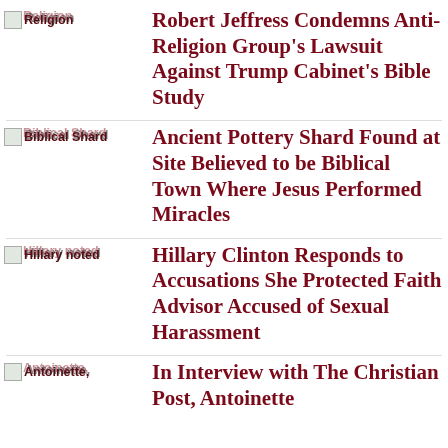Robert Jeffress Condemns Anti-Religion Group’s Lawsuit Against Trump Cabinet’s Bible Study
Ancient Pottery Shard Found at Site Believed to be Biblical Town Where Jesus Performed Miracles
Hillary Clinton Responds to Accusations She Protected Faith Advisor Accused of Sexual Harassment
In Interview with The Christian Post, Antoinette...